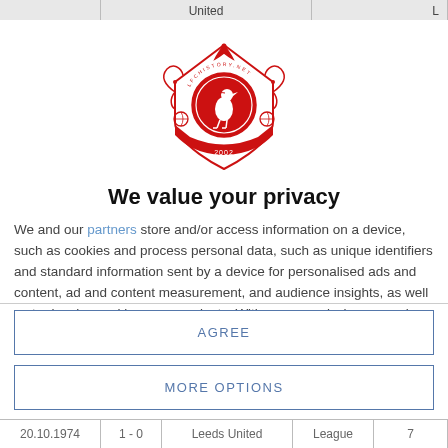[Figure (logo): LFCHistory.net circular crest logo in red, featuring a bird (liver bird) in the center, decorative elements, and the year 2002 at the bottom]
We value your privacy
We and our partners store and/or access information on a device, such as cookies and process personal data, such as unique identifiers and standard information sent by a device for personalised ads and content, ad and content measurement, and audience insights, as well as to develop and improve products. With your permission we and our
AGREE
MORE OPTIONS